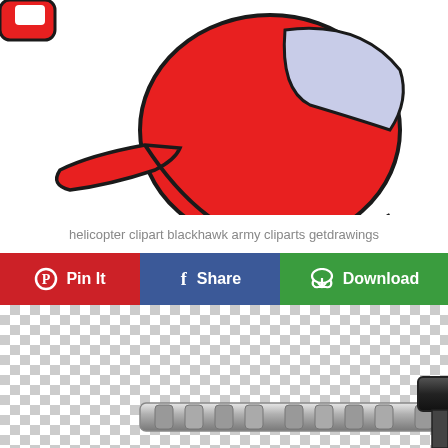[Figure (illustration): Cartoon red helicopter clipart with light blue window, black skids, shown cropped from top portion]
helicopter clipart blackhawk army cliparts getdrawings
Pin It
Share
Download
[Figure (illustration): Helicopter rotor/tail section clipart on transparent (checkerboard) background, gray metallic style]